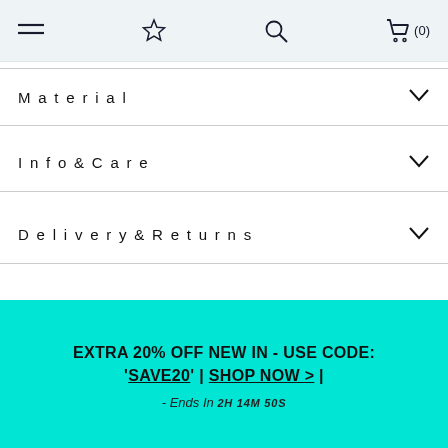Navigation bar with menu, wishlist, search, and cart (0) icons
Material
Info & Care
Delivery & Returns
YOU MAY ALSO LIKE
[Figure (photo): Two product t-shirts partially visible at bottom of page]
EXTRA 20% OFF NEW IN - USE CODE: 'SAVE20' | SHOP NOW > | - Ends In 2H 14M 50S